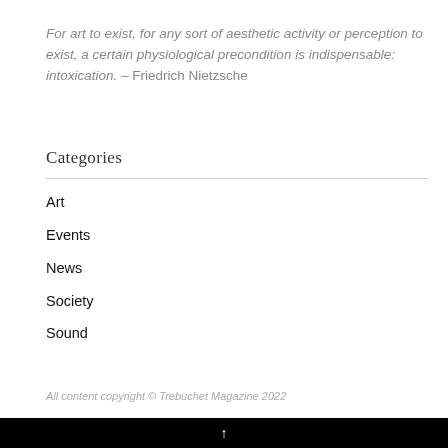For art to exist, for any sort of aesthetic activity or perception to exist, a certain physiological precondition is indispensable: intoxication. – Friedrich Nietzsche
Categories
Art
Events
News
Society
Sound
All content copyright © Trebuchet Magazine 2022